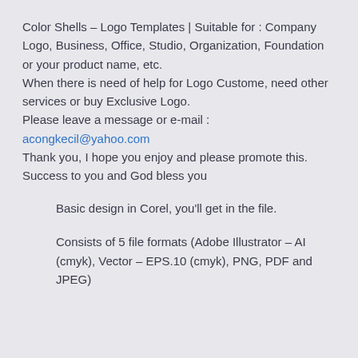Color Shells – Logo Templates | Suitable for : Company Logo, Business, Office, Studio, Organization, Foundation or your product name, etc.
When there is need of help for Logo Custome, need other services or buy Exclusive Logo.
Please leave a message or e-mail :
acongkecil@yahoo.com
Thank you, I hope you enjoy and please promote this.
Success to you and God bless you
Basic design in Corel, you'll get in the file.
Consists of 5 file formats (Adobe Illustrator – AI (cmyk), Vector – EPS.10 (cmyk), PNG, PDF and JPEG)